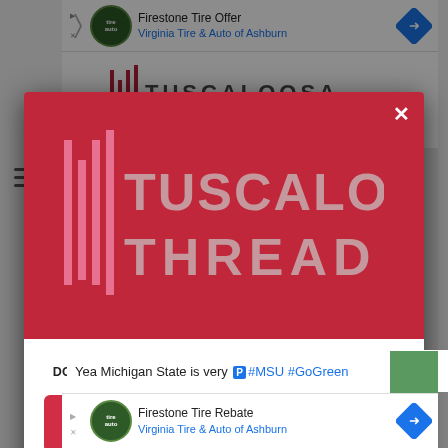[Figure (screenshot): Firestone Tire Offer advertisement banner at top of page showing Virginia Tire & Auto of Ashburn]
[Figure (logo): Tuscaloosa Thread website logo visible in background behind modal overlay]
[Figure (screenshot): Modal popup with red top section showing Tuscaloosa Thread logo, white close X button, and white bottom section with download CTA]
DOWNLOAD THE TUSCALOOSA THREAD MOBILE APP
GET OUR FREE MOBILE APP
Yea Michigan State is very #MSU #GoGreen
[Figure (screenshot): Firestone Tire Rebate advertisement banner at bottom of page showing Virginia Tire & Auto of Ashburn]